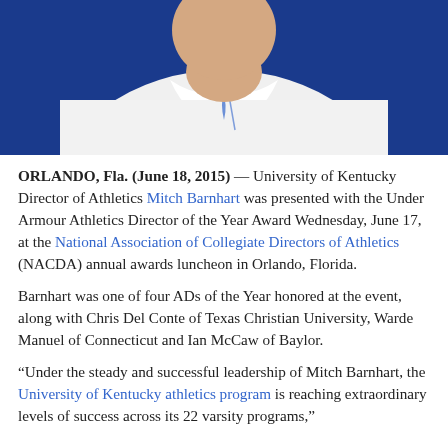[Figure (photo): Partial photo of a person wearing a white collared shirt with blue accent, against a blue background. Only the lower face/neck and torso visible.]
ORLANDO, Fla. (June 18, 2015) — University of Kentucky Director of Athletics Mitch Barnhart was presented with the Under Armour Athletics Director of the Year Award Wednesday, June 17, at the National Association of Collegiate Directors of Athletics (NACDA) annual awards luncheon in Orlando, Florida.
Barnhart was one of four ADs of the Year honored at the event, along with Chris Del Conte of Texas Christian University, Warde Manuel of Connecticut and Ian McCaw of Baylor.
“Under the steady and successful leadership of Mitch Barnhart, the University of Kentucky athletics program is reaching extraordinary levels of success across its 22 varsity programs,”